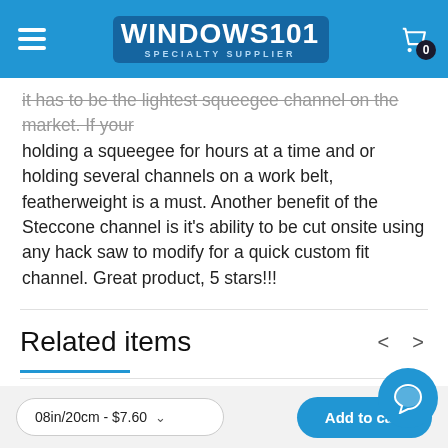WINDOWS101 SPECIALTY SUPPLIER
It has to be the lightest squeegee channel on the market. If your holding a squeegee for hours at a time and or holding several channels on a work belt, featherweight is a must. Another benefit of the Steccone channel is it's ability to be cut onsite using any hack saw to modify for a quick custom fit channel. Great product, 5 stars!!!
Related items
US Blade
12 Single Edge Razor 1in Blades 100 Pack
08in/20cm - $7.60
Add to cart